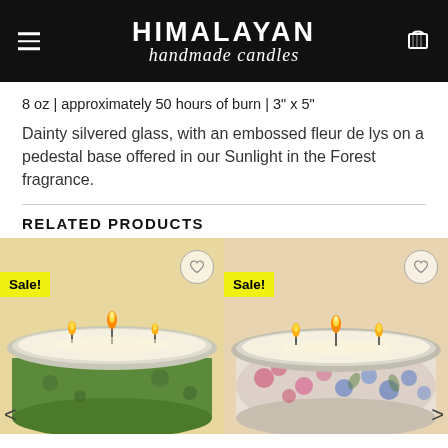HIMALAYAN handmade candles
8 oz | approximately 50 hours of burn | 3" x 5"
Dainty silvered glass, with an embossed fleur de lys on a pedestal base offered in our Sunlight in the Forest fragrance.
RELATED PRODUCTS
[Figure (photo): Two sale candle products in decorative tins with multiple lit wicks. Left candle has a green floral tin, right candle has a pink/blue floral tin. Both show 'Sale!' badges.]